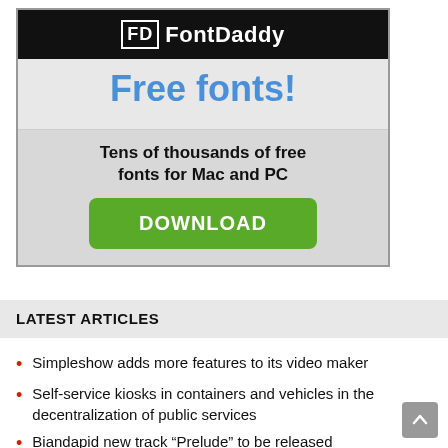[Figure (infographic): FontDaddy advertisement banner with dark header showing FD logo and FontDaddy text, blue 'Free fonts!' headline, grey body with 'Tens of thousands of free fonts for Mac and PC' text and a green DOWNLOAD button]
LATEST ARTICLES
Simpleshow adds more features to its video maker
Self-service kiosks in containers and vehicles in the decentralization of public services
Biandapid new track “Prelude” to be released